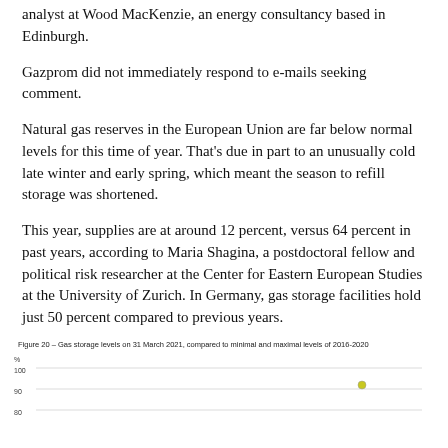analyst at Wood MacKenzie, an energy consultancy based in Edinburgh.
Gazprom did not immediately respond to e-mails seeking comment.
Natural gas reserves in the European Union are far below normal levels for this time of year. That's due in part to an unusually cold late winter and early spring, which meant the season to refill storage was shortened.
This year, supplies are at around 12 percent, versus 64 percent in past years, according to Maria Shagina, a postdoctoral fellow and political risk researcher at the Center for Eastern European Studies at the University of Zurich. In Germany, gas storage facilities hold just 50 percent compared to previous years.
Figure 20 – Gas storage levels on 31 March 2021, compared to minimal and maximal levels of 2016-2020
[Figure (line-chart): Chart showing gas storage levels as percentage, with y-axis from 80 to 100%, partial view with a marker point visible near 90%]